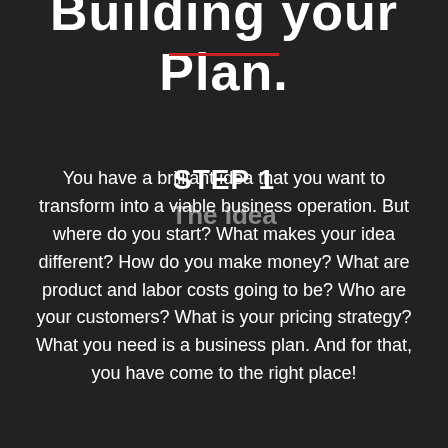Building your Plan.
STEP 1
The Idea
You have a brilliant idea that you want to transform into a viable business operation. But where do you start? What makes your idea different? How do you make money? What are product and labor costs going to be? Who are your customers? What is your pricing strategy? What you need is a business plan. And for that, you have come to the right place!
STEP 2
The Discovery